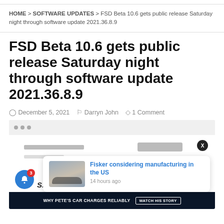HOME > SOFTWARE UPDATES > FSD Beta 10.6 gets public release Saturday night through software update 2021.36.8.9
FSD Beta 10.6 gets public release Saturday night through software update 2021.36.8.9
December 5, 2021   Darryn John   1 Comment
[Figure (screenshot): Screenshot of a browser window showing a software update page, with a notification popup about 'Fisker considering manufacturing in the US' appearing 14 hours ago, a blue bell notification icon with badge showing 3, and SAE logo. Bottom portion shows a dark banner 'Why Pete's Car Charges Reliably' with a 'Watch His Story' button.]